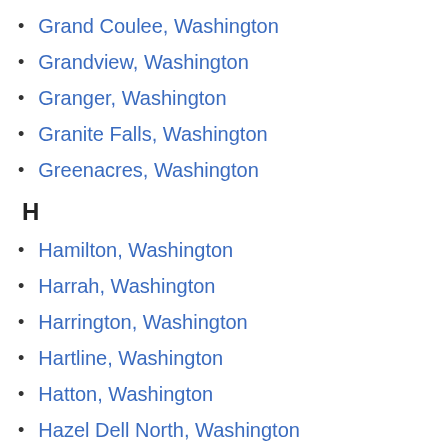Grand Coulee, Washington
Grandview, Washington
Granger, Washington
Granite Falls, Washington
Greenacres, Washington
H
Hamilton, Washington
Harrah, Washington
Harrington, Washington
Hartline, Washington
Hatton, Washington
Hazel Dell North, Washington